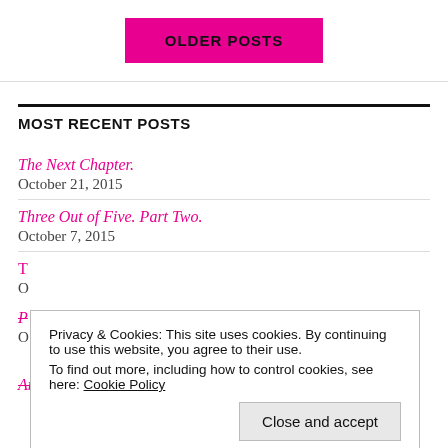OLDER POSTS
MOST RECENT POSTS
The Next Chapter.
October 21, 2015
Three Out of Five. Part Two.
October 7, 2015
Privacy & Cookies: This site uses cookies. By continuing to use this website, you agree to their use.
To find out more, including how to control cookies, see here: Cookie Policy
Close and accept
Are We in the Clear Yet. Part Two.